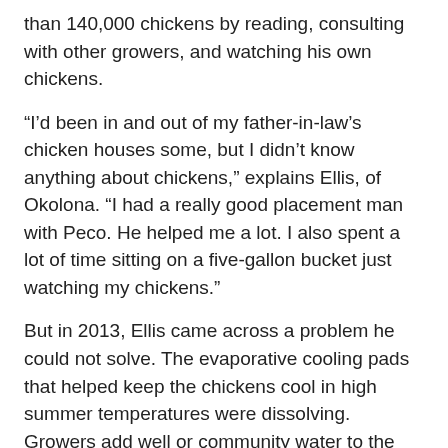than 140,000 chickens by reading, consulting with other growers, and watching his own chickens.
“I’d been in and out of my father-in-law’s chicken houses some, but I didn’t know anything about chickens,” explains Ellis, of Okolona. “I had a really good placement man with Peco. He helped me a lot. I also spent a lot of time sitting on a five-gallon bucket just watching my chickens.”
But in 2013, Ellis came across a problem he could not solve. The evaporative cooling pads that helped keep the chickens cool in high summer temperatures were dissolving. Growers add well or community water to the cooling pads located at one end of a house and run large exhaust fans located at the other end to help regulate the critical balance between temperature and humidity in the houses.
“I knew it had to be the water quality, but I couldn’t figure